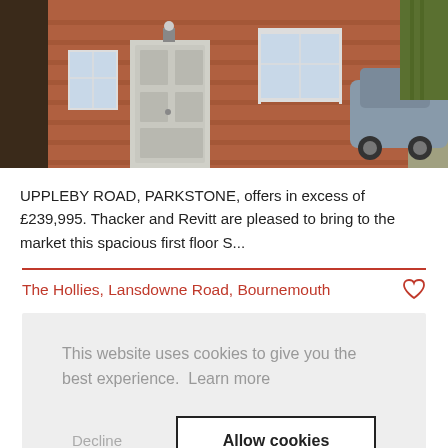[Figure (photo): Exterior photo of a red brick house with white door and windows, partial view of a car on the right side]
UPPLEBY ROAD, PARKSTONE, offers in excess of £239,995. Thacker and Revitt are pleased to bring to the market this spacious first floor S...
The Hollies, Lansdowne Road, Bournemouth
This website uses cookies to give you the best experience. Learn more
Decline
Allow cookies